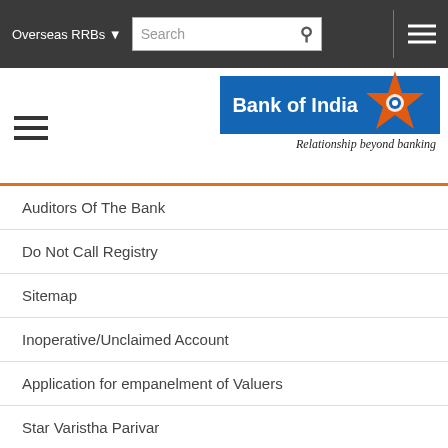Overseas RRBs | Search | (hamburger menu)
[Figure (logo): Bank of India logo with star icon and blue background, tagline: Relationship beyond banking]
Auditors Of The Bank
Do Not Call Registry
Sitemap
Inoperative/Unclaimed Account
Application for empanelment of Valuers
Star Varistha Parivar
Training Centers
Independent External Monitor(IEM)
EShakti
Agricultural Debt Waiver
PMRY